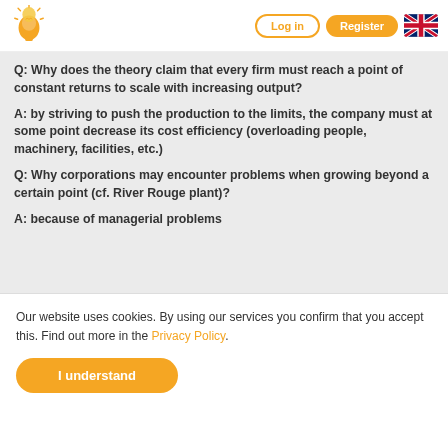[Figure (logo): Light bulb head logo icon in orange/yellow]
Log in
Register
[Figure (illustration): UK flag icon]
Q: Why does the theory claim that every firm must reach a point of constant returns to scale with increasing output?
A: by striving to push the production to the limits, the company must at some point decrease its cost efficiency (overloading people, machinery, facilities, etc.)
Q: Why corporations may encounter problems when growing beyond a certain point (cf. River Rouge plant)?
A: because of managerial problems
Our website uses cookies. By using our services you confirm that you accept this. Find out more in the Privacy Policy.
I understand